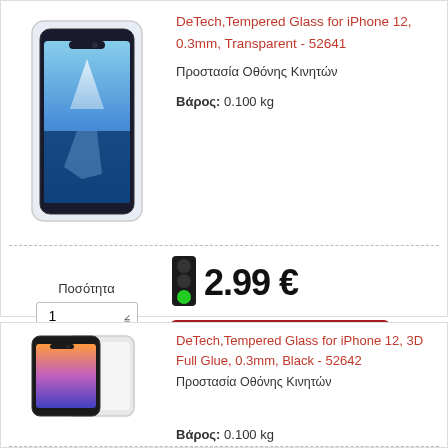[Figure (photo): iPhone 12 with tempered glass screen protector, transparent, product photo]
DeTech,Tempered Glass for iPhone 12, 0.3mm, Transparent - 52641
Προστασία Οθόνης Κινητών
Βάρος: 0.100 kg
Ποσότητα
1
[Figure (infographic): Traffic light icon showing green light (in stock)]
2.99 €
Προσθήκη στο Καλάθι
[Figure (photo): iPhone 12 with 3D Full Glue tempered glass, black edges, product photo]
DeTech,Tempered Glass for iPhone 12, 3D Full Glue, 0.3mm, Black - 52642
Προστασία Οθόνης Κινητών
Βάρος: 0.100 kg
Ποσότητα
[Figure (infographic): Traffic light icon showing green light (in stock)]
2.99 €